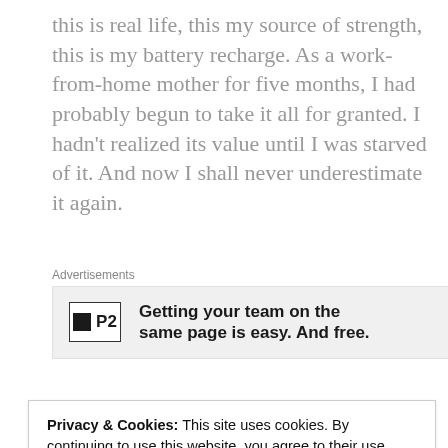this is real life, this my source of strength, this is my battery recharge. As a work-from-home mother for five months, I had probably begun to take it all for granted. I hadn't realized its value until I was starved of it. And now I shall never underestimate it again.
[Figure (other): Advertisement box for P2 (WordPress.com product): logo square with 'P2' text, bold headline 'Getting your team on the same page is easy. And free.']
It takes a challenge to teach us valuable lessons. It
Privacy & Cookies: This site uses cookies. By continuing to use this website, you agree to their use.
To find out more, including how to control cookies, see here: Cookie Policy
Close and accept